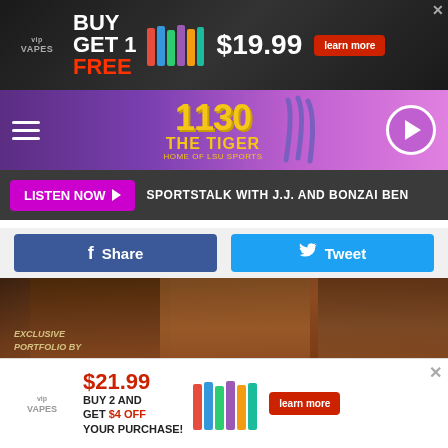[Figure (screenshot): Top advertisement banner for VipVapes showing 'BUY 1 GET 1 FREE' with vape bottles and price $19.99 with learn more button]
[Figure (logo): 1130 The Tiger radio station logo - Home of LSU Sports, purple gradient nav bar with hamburger menu and play button]
LISTEN NOW ▶ SPORTSTALK WITH J.J. AND BONZAI BEN
[Figure (infographic): Facebook Share button (blue) and Twitter Tweet button (cyan blue) side by side]
[Figure (photo): Star Wars promotional image with leather-jacketed figures and text 'EXCLUSIVE PORTFOLIO BY ANNIE LEIBOVITZ' and 'STAR WARS' title at bottom]
[Figure (screenshot): Bottom advertisement banner for VipVapes showing $21.99, BUY 2 AND GET $4 OFF YOUR PURCHASE with colorful vape bottles and learn more button]